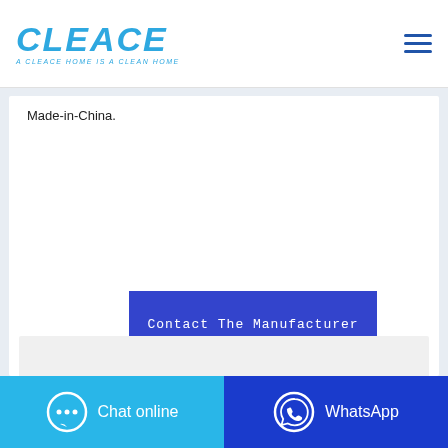CLEACE — A CLEACE HOME IS A CLEAN HOME
Made-in-China.
[Figure (screenshot): Blue 'Contact The Manufacturer' button overlapping a green 'WhatsApp' button]
[Figure (photo): Product image placeholder with partial circular product visible]
Chat online | WhatsApp